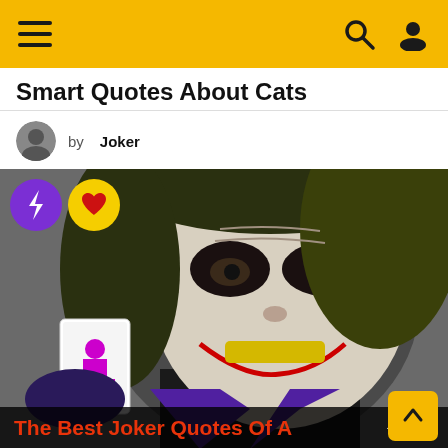Navigation bar with hamburger menu, search and user icons
Smart Quotes About Cats
by Joker
[Figure (photo): Photo of The Joker character (Heath Ledger) holding a playing card, with white face paint and dark eye makeup, dark curly greenish-blonde hair, wearing a purple suit. Overlay icons: purple circle with lightning bolt, yellow circle with red heart. Bottom overlay text reads 'The Best Joker Quotes Of All Time' with a lightning bolt icon and '505'. A yellow scroll-up button is in the bottom right corner.]
The Best Joker Quotes Of All Time  ⚡ 505